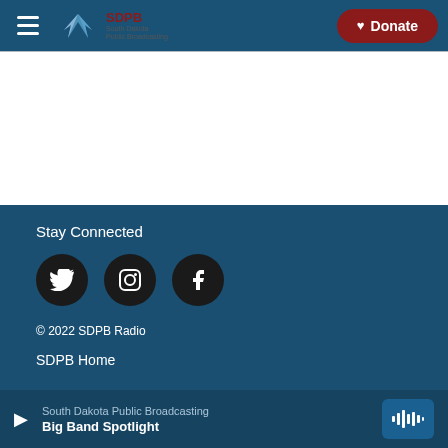SDPB South Dakota Public Broadcasting | Donate
[Figure (logo): SDPB South Dakota Public Broadcasting logo with bird/wing icon]
Stay Connected
[Figure (infographic): Social media icons: Twitter, Instagram, Facebook (black circles)]
© 2022 SDPB Radio
SDPB Home
South Dakota Public Broadcasting | Big Band Spotlight